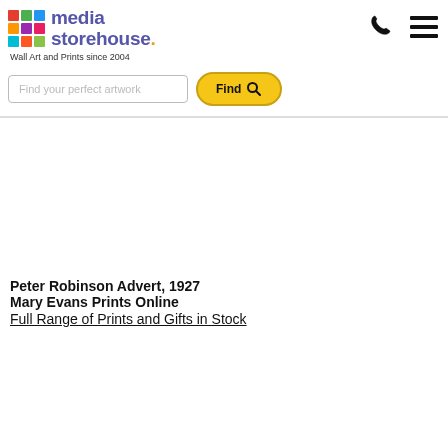[Figure (logo): Media Storehouse logo with colorful grid icon and text]
Wall Art and Prints since 2004
[Figure (other): Search input field with placeholder 'Find your perfect artwork' and yellow 'Find' button with magnifying glass icon]
[Figure (other): Empty image area placeholder]
Peter Robinson Advert, 1927
Mary Evans Prints Online
Full Range of Prints and Gifts in Stock